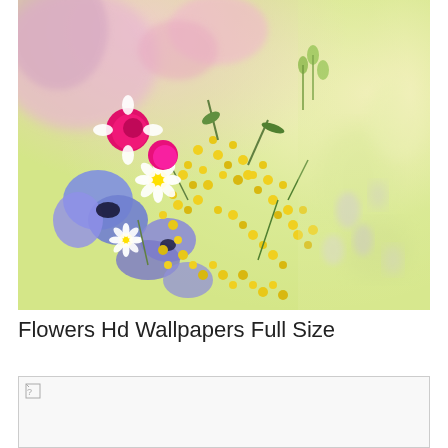[Figure (photo): Close-up photograph of a colorful mixed flower bouquet featuring pink, blue, white, and yellow wildflowers including daisies, cornflowers, and small yellow blooms, with a soft blurred yellow-green background.]
Flowers Hd Wallpapers Full Size
[Figure (photo): A second flower image below the title, shown with a broken image icon in the top-left corner, content not loaded.]